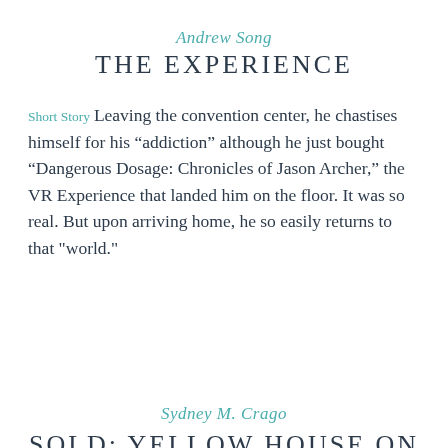Andrew Song
THE EXPERIENCE
Short Story Leaving the convention center, he chastises himself for his “addiction” although he just bought “Dangerous Dosage: Chronicles of Jason Archer,” the VR Experience that landed him on the floor. It was so real. But upon arriving home, he so easily returns to that "world."
Sydney M. Crago
SOLD: YELLOW HOUSE ON